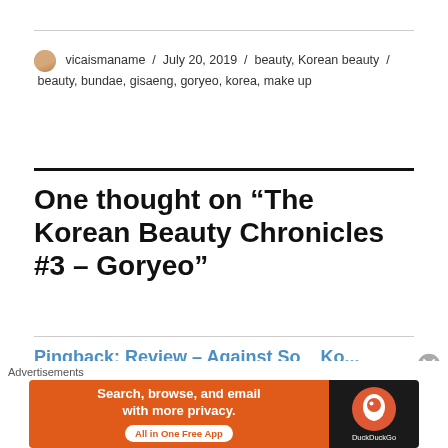vicaismaname / July 20, 2019 / beauty, Korean beauty / beauty, bundae, gisaeng, goryeo, korea, make up
One thought on “The Korean Beauty Chronicles #3 – Goryeo”
Pingback: Review - Against So...
[Figure (screenshot): DuckDuckGo advertisement banner: orange section with 'Search, browse, and email with more privacy. All in One Free App' and dark section with DuckDuckGo logo and name]